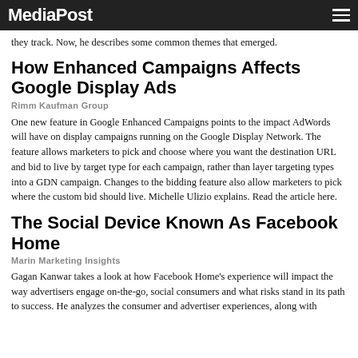MediaPost
they track. Now, he describes some common themes that emerged.
How Enhanced Campaigns Affects Google Display Ads
Rimm Kaufman Group
One new feature in Google Enhanced Campaigns points to the impact AdWords will have on display campaigns running on the Google Display Network. The feature allows marketers to pick and choose where you want the destination URL and bid to live by target type for each campaign, rather than layer targeting types into a GDN campaign. Changes to the bidding feature also allow marketers to pick where the custom bid should live. Michelle Ulizio explains. Read the article here.
The Social Device Known As Facebook Home
Marin Marketing Insights
Gagan Kanwar takes a look at how Facebook Home's experience will impact the way advertisers engage on-the-go, social consumers and what risks stand in its path to success. He analyzes the consumer and advertiser experiences, along with